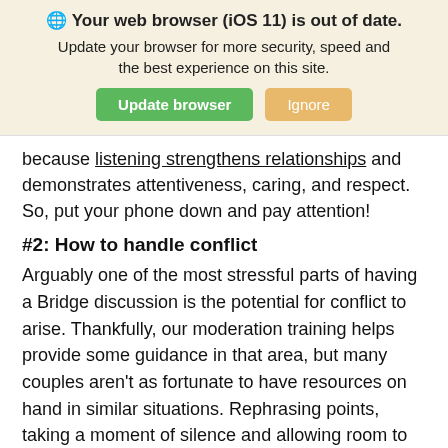[Figure (screenshot): Browser update notification banner with globe icon, bold title 'Your web browser (iOS 11) is out of date.', subtitle text, and two buttons: green 'Update browser' and tan 'Ignore']
because listening strengthens relationships and demonstrates attentiveness, caring, and respect. So, put your phone down and pay attention!
#2: How to handle conflict
Arguably one of the most stressful parts of having a Bridge discussion is the potential for conflict to arise. Thankfully, our moderation training helps provide some guidance in that area, but many couples aren't as fortunate to have resources on hand in similar situations. Rephrasing points, taking a moment of silence and allowing room to respond are a few ways to